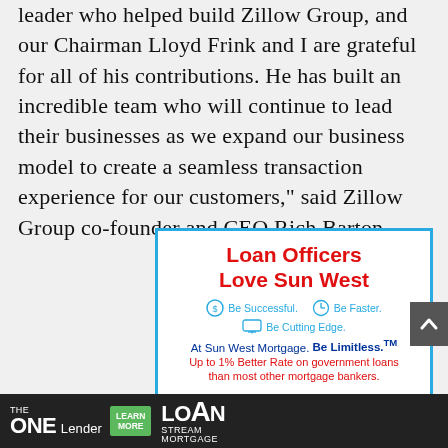leader who helped build Zillow Group, and our Chairman Lloyd Frink and I are grateful for all of his contributions. He has built an incredible team who will continue to lead their businesses as we expand our business model to create a seamless transaction experience for our customers," said Zillow Group co-founder and CEO Rich Barton.
[Figure (infographic): Sun West Mortgage advertisement: 'Loan Officers Love Sun West' with icons for Be Successful, Be Faster, Be Cutting Edge. Tagline: At Sun West Mortgage. Be Limitless.™ Up to 1% Better Rate on government loans than most other mortgage bankers.]
[Figure (infographic): LoanStream Mortgage banner ad: 'THE ONE Lender' with a green LEARN MORE button and LoanStream Mortgage logo on dark background.]